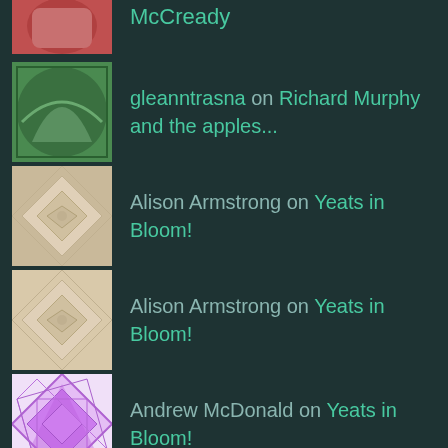McCready
gleanntrasna on Richard Murphy and the apples...
Alison Armstrong on Yeats in Bloom!
Alison Armstrong on Yeats in Bloom!
Andrew McDonald on Yeats in Bloom!
THEBICYCLOPS
thebicyclops
META